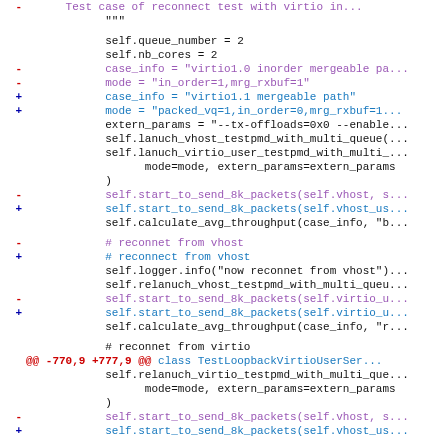diff/code hunk showing reconnect test modifications for TestLoopbackVirtioUserSer class
Lines showing queue_number=2, nb_cores=2, case_info and mode changes, extern_params, lanuch calls, start_to_send_8k_packets changes, calculate_avg_throughput calls, reconnet from vhost/virtio comments, logger.info, relanuch calls
@@ -770,9 +777,9 @@ class TestLoopbackVirtioUserSer hunk header
Further relanuch_virtio_testpmd, mode=mode, extern_params, start_to_send_8k_packets lines